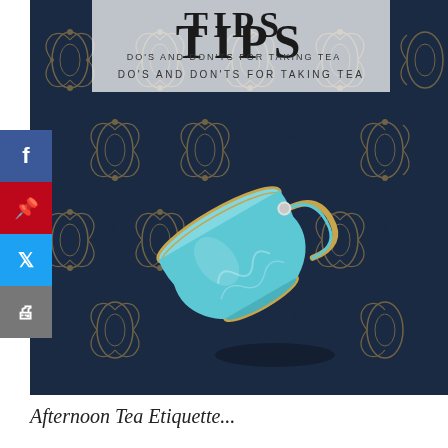[Figure (photo): A tilted turquoise/teal teacup with gold rim photographed on a dark navy blue ornate damask patterned fabric background. The image has a white semi-transparent text overlay at the top reading 'TIPS' in large serif letters and 'DO'S AND DON'TS FOR TAKING TEA' in smaller spaced sans-serif. Social sharing sidebar with Facebook, Pinterest, Twitter, and print buttons on the left edge.]
Afternoon Tea Etiquette